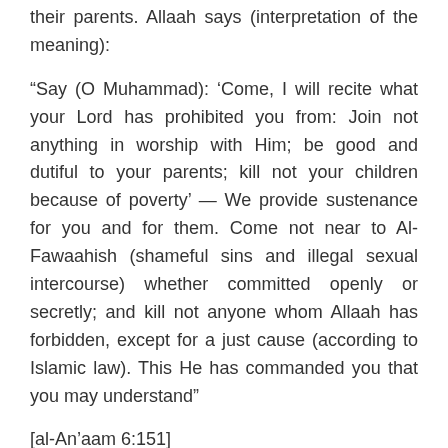their parents. Allaah says (interpretation of the meaning):
“Say (O Muhammad): ‘Come, I will recite what your Lord has prohibited you from: Join not anything in worship with Him; be good and dutiful to your parents; kill not your children because of poverty’ — We provide sustenance for you and for them. Come not near to Al-Fawaahish (shameful sins and illegal sexual intercourse) whether committed openly or secretly; and kill not anyone whom Allaah has forbidden, except for a just cause (according to Islamic law). This He has commanded you that you may understand”
[al-An’aam 6:151]